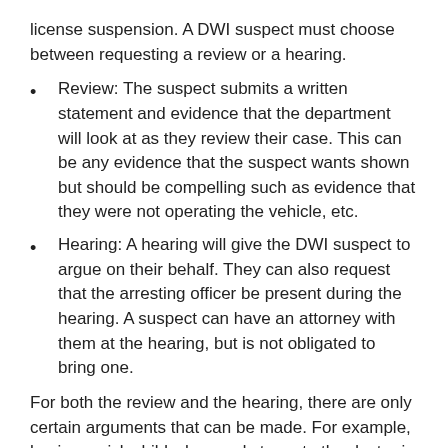license suspension. A DWI suspect must choose between requesting a review or a hearing.
Review: The suspect submits a written statement and evidence that the department will look at as they review their case. This can be any evidence that the suspect wants shown but should be compelling such as evidence that they were not operating the vehicle, etc.
Hearing: A hearing will give the DWI suspect to argue on their behalf. They can also request that the arresting officer be present during the hearing. A suspect can have an attorney with them at the hearing, but is not obligated to bring one.
For both the review and the hearing, there are only certain arguments that can be made. For example, having a sick child who needs to go to the doctor is not a valid argument to make in order to fight administrative license suspension. Instead, a suspect must argue against the facts of the case and is limited to the following defenses: